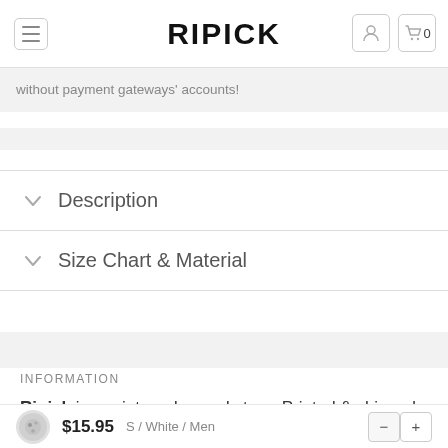RIPICK
without payment gateways' accounts!
Description
Size Chart & Material
INFORMATION
Ripick is a print on demand store. Printed & shipped in US...
$15.95  S / White / Men